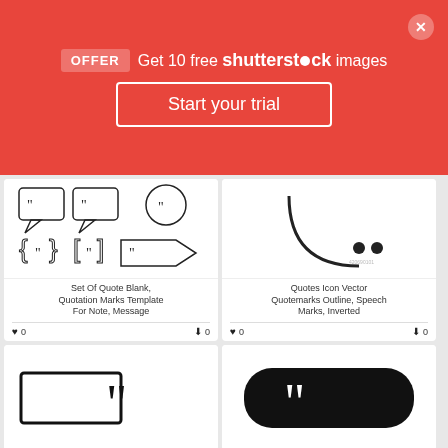[Figure (screenshot): Shutterstock promotional banner: OFFER badge, 'Get 10 free shutterstock images', 'Start your trial' button, close X button on red background]
[Figure (illustration): Set of quote blank speech bubbles and quotation marks template illustrations in outline style]
Set Of Quote Blank, Quotation Marks Template For Note, Message
[Figure (illustration): Quotes Icon Vector Quotemarks Outline, Speech Marks, Inverted - large quotation mark outline on white]
Quotes Icon Vector Quotemarks Outline, Speech Marks, Inverted
[Figure (illustration): Partial view of a quote box with large open quotation marks, black on white]
[Figure (illustration): Black rounded rectangle containing white large closing quotation marks]